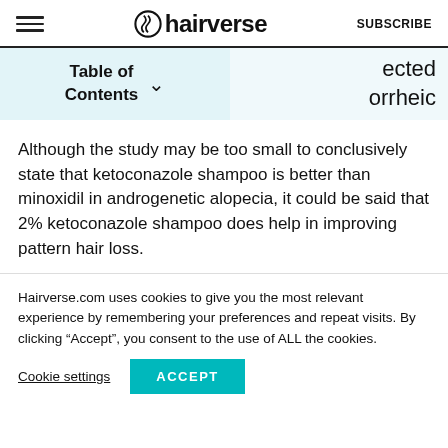hairverse  SUBSCRIBE
Table of Contents
ected orrheic
Although the study may be too small to conclusively state that ketoconazole shampoo is better than minoxidil in androgenetic alopecia, it could be said that 2% ketoconazole shampoo does help in improving pattern hair loss.
Hairverse.com uses cookies to give you the most relevant experience by remembering your preferences and repeat visits. By clicking “Accept”, you consent to the use of ALL the cookies.
Cookie settings  ACCEPT